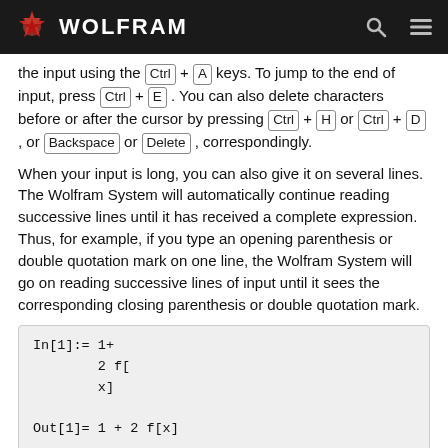WOLFRAM
the input using the Ctrl + A keys. To jump to the end of input, press Ctrl + E . You can also delete characters before or after the cursor by pressing Ctrl + H or Ctrl + D , or Backspace or Delete , correspondingly.
When your input is long, you can also give it on several lines. The Wolfram System will automatically continue reading successive lines until it has received a complete expression. Thus, for example, if you type an opening parenthesis or double quotation mark on one line, the Wolfram System will go on reading successive lines of input until it sees the corresponding closing parenthesis or double quotation mark.
However, if you press Enter to continue on the next line, you will not be able to edit the previous line.